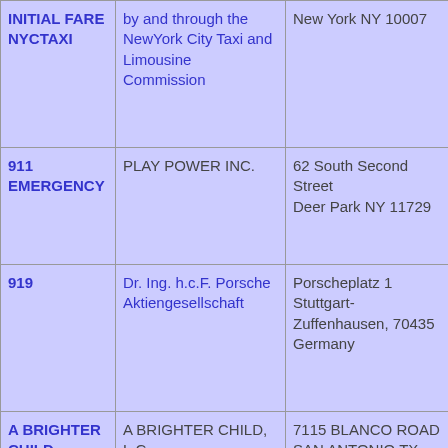| Mark | Registrant | Address | Goods/Services (partial) |
| --- | --- | --- | --- |
| INITIAL FARE NYCTAXI | ...by and through the NewYork City Taxi and Limousine Commission | New York NY 10007 | ... |
| 911 EMERGENCY | PLAY POWER INC. | 62 South Second Street
Deer Park NY 11729 | toy... |
| 919 | Dr. Ing. h.c.F. Porsche Aktiengesellschaft | Porscheplatz 1
Stuttgart-Zuffenhausen, 70435
Germany | Toy... and... |
| A BRIGHTER CHILD | A BRIGHTER CHILD, L.C. | 7115 BLANCO ROAD
SAN ANTONIO TX 78216 | TO... AN... TO... ... |
| A KID'S LIFE! | Echo Pictures | 5100 Avenida | Toy... |